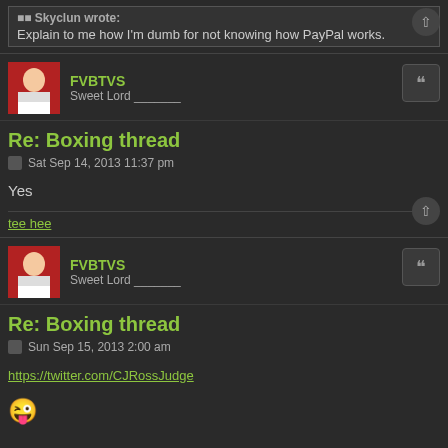Skyclun wrote: Explain to me how I'm dumb for not knowing how PayPal works.
FVBTVS
Sweet Lord _______
Re: Boxing thread
Sat Sep 14, 2013 11:37 pm
Yes
tee hee
FVBTVS
Sweet Lord _______
Re: Boxing thread
Sun Sep 15, 2013 2:00 am
https://twitter.com/CJRossJudge